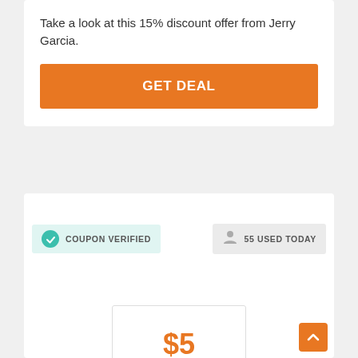Take a look at this 15% discount offer from Jerry Garcia.
GET DEAL
COUPON VERIFIED
55 USED TODAY
$5 OFF